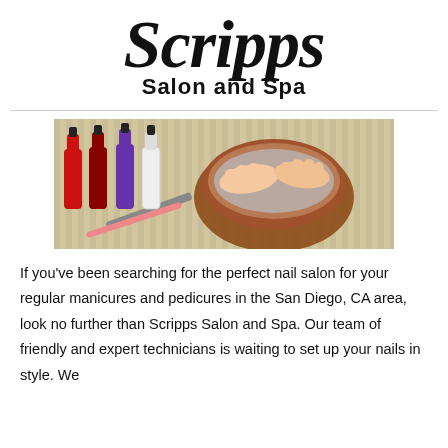Scripps Salon and Spa
[Figure (photo): Nail salon photo showing colorful nail polish bottles on the left (red, dark red, purple, white) and two hands soaking in a wooden bowl of water on the right, on a striped mat background.]
If you've been searching for the perfect nail salon for your regular manicures and pedicures in the San Diego, CA area, look no further than Scripps Salon and Spa. Our team of friendly and expert technicians is waiting to set up your nails in style. We